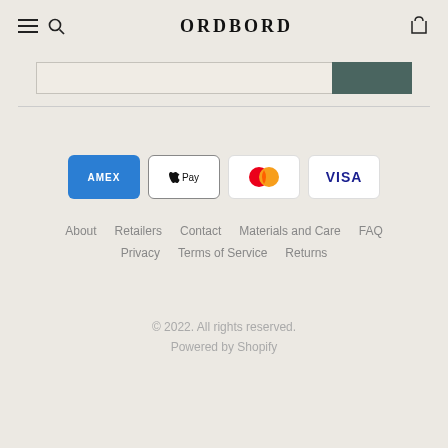ORDBORD
[Figure (infographic): Payment method icons: American Express (AMEX), Apple Pay, Mastercard, Visa]
About   Retailers   Contact   Materials and Care   FAQ
Privacy   Terms of Service   Returns
© 2022. All rights reserved.
Powered by Shopify